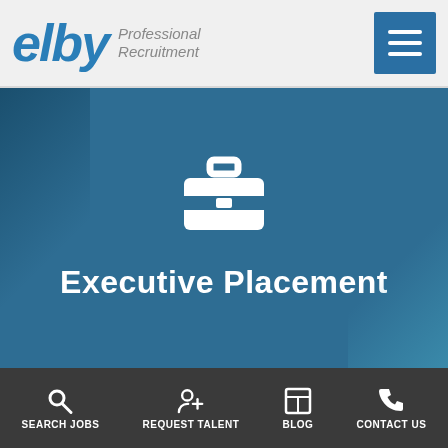[Figure (logo): Elby Professional Recruitment logo with blue stylized text 'elby' and gray italic text 'Professional Recruitment']
[Figure (screenshot): Hamburger menu icon (three horizontal white lines) on dark blue square button]
[Figure (illustration): White briefcase icon on blue-teal hero background]
Executive Placement
SEARCH JOBS  REQUEST TALENT  BLOG  CONTACT US